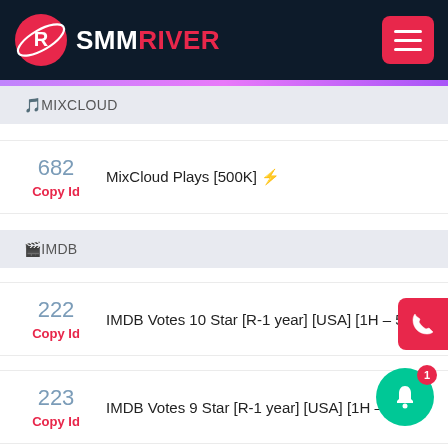SMMRIVER
🎵MIXCLOUD
682 Copy Id — MixCloud Plays [500K] ⚡️
🎬IMDB
222 Copy Id — IMDB Votes 10 Star [R-1 year] [USA] [1H – 500
223 Copy Id — IMDB Votes 9 Star [R-1 year] [USA] [1H – 500
224 Copy Id — ...